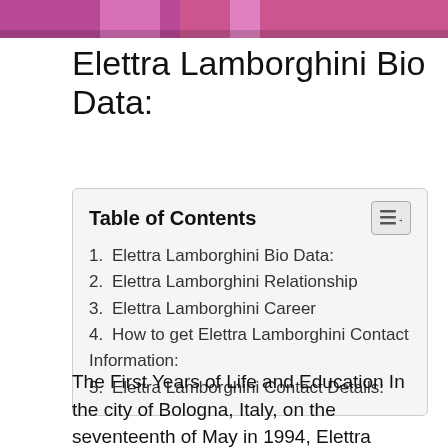[Figure (photo): Cropped photo strip showing a person with pink/magenta coloring at the top of the page]
Elettra Lamborghini Bio Data:
| 1. Elettra Lamborghini Bio Data: |
| 2. Elettra Lamborghini Relationship |
| 3. Elettra Lamborghini Career |
| 4. How to get Elettra Lamborghini Contact Information: |
| 5. Elettra Lamborghini Contact Details: |
The First Years of Life and Education In the city of Bologna, Italy, on the seventeenth of May in 1994, Elettra Lamborghini was born to a doting mother and father. Her mother's